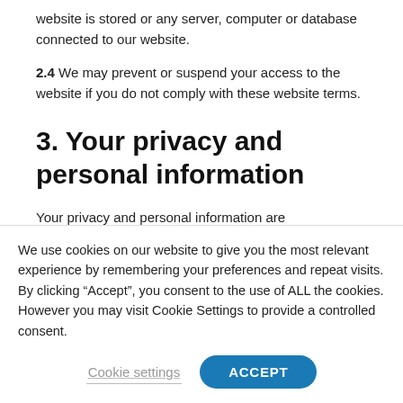website is stored or any server, computer or database connected to our website.
2.4 We may prevent or suspend your access to the website if you do not comply with these website terms.
3. Your privacy and personal information
Your privacy and personal information are
We use cookies on our website to give you the most relevant experience by remembering your preferences and repeat visits. By clicking “Accept”, you consent to the use of ALL the cookies. However you may visit Cookie Settings to provide a controlled consent.
Cookie settings
ACCEPT